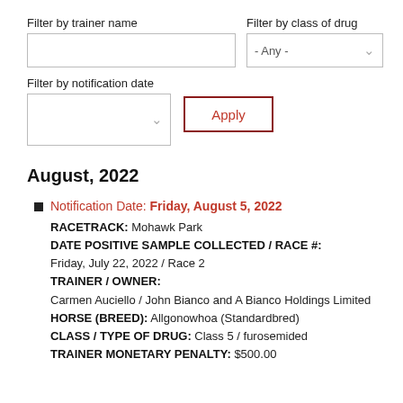Filter by trainer name
Filter by class of drug
Filter by notification date
Apply
August, 2022
Notification Date: Friday, August 5, 2022
RACETRACK: Mohawk Park
DATE POSITIVE SAMPLE COLLECTED / RACE #: Friday, July 22, 2022 / Race 2
TRAINER / OWNER: Carmen Auciello / John Bianco and A Bianco Holdings Limited
HORSE (BREED): Allgonowhoa (Standardbred)
CLASS / TYPE OF DRUG: Class 5 / furosemided
TRAINER MONETARY PENALTY: $500.00